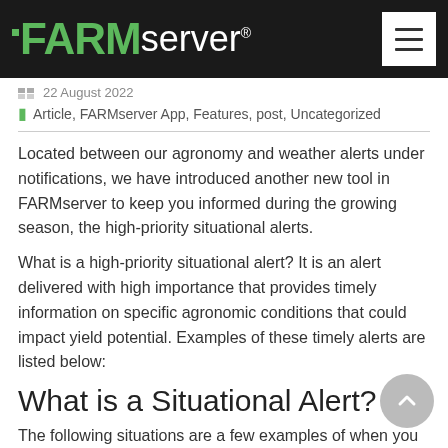FARMserver
22 August 2022
Article, FARMserver App, Features, post, Uncategorized
Located between our agronomy and weather alerts under notifications, we have introduced another new tool in FARMserver to keep you informed during the growing season, the high-priority situational alerts.
What is a high-priority situational alert? It is an alert delivered with high importance that provides timely information on specific agronomic conditions that could impact yield potential. Examples of these timely alerts are listed below:
What is a Situational Alert?
The following situations are a few examples of when you can expect to receive a Situational Alert, along with helpful